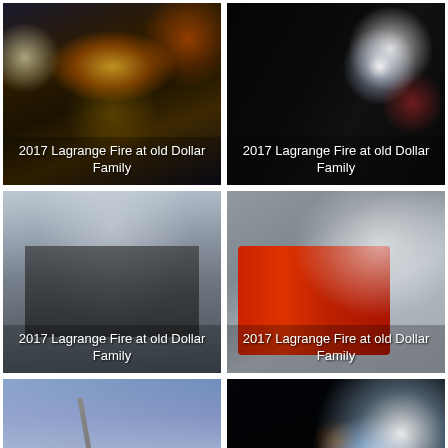[Figure (photo): Night aerial view of fire scene at old Dollar Family store, Lagrange 2017, showing fire trucks and hoses illuminated by lights]
2017 Lagrange Fire at old Dollar Family
[Figure (photo): Dark night photo with bright lights and silhouette of fire scene at old Dollar Family store, Lagrange 2017]
2017 Lagrange Fire at old Dollar Family
[Figure (photo): Daytime smoky photo of burning building with fire hose spraying water, Lagrange Fire 2017 at old Dollar Family]
2017 Lagrange Fire at old Dollar Family
[Figure (photo): Fire truck with smoke in background, firefighter on aerial ladder, Lagrange Fire 2017 at old Dollar Family]
2017 Lagrange Fire at old Dollar Family
[Figure (photo): Daytime photo of aerial crane ladder truck against blue sky with power lines, Lagrange 2017 fire]
[Figure (photo): Night photo of water spray from fire hose with bright light reflection, Lagrange 2017 fire]